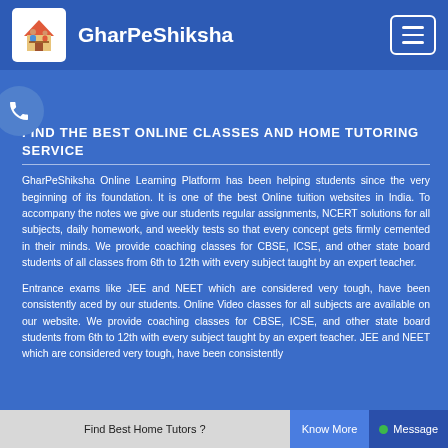GharPeShiksha
FIND THE BEST ONLINE CLASSES AND HOME TUTORING SERVICE
GharPeShiksha Online Learning Platform has been helping students since the very beginning of its foundation. It is one of the best Online tuition websites in India. To accompany the notes we give our students regular assignments, NCERT solutions for all subjects, daily homework, and weekly tests so that every concept gets firmly cemented in their minds. We provide coaching classes for CBSE, ICSE, and other state board students of all classes from 6th to 12th with every subject taught by an expert teacher.
Entrance exams like JEE and NEET which are considered very tough, have been consistently aced by our students. Online Video classes for all subjects are available on our website. We provide coaching classes for CBSE, ICSE, and other state board students from 6th to 12th with every subject taught by an expert teacher. JEE and NEET which are considered very tough, have been consistently